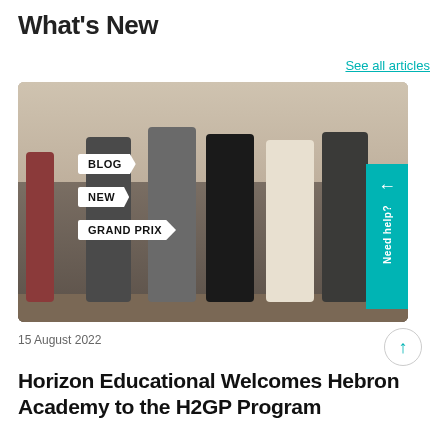What's New
See all articles
[Figure (photo): Group photo of six young men and an instructor standing together in a workshop/lab setting, with label tags reading BLOG, NEW, and GRAND PRIX overlaid on the left side of the image. A teal navigation button with a left arrow and 'Need help?' text appears on the right edge.]
15 August 2022
Horizon Educational Welcomes Hebron Academy to the H2GP Program